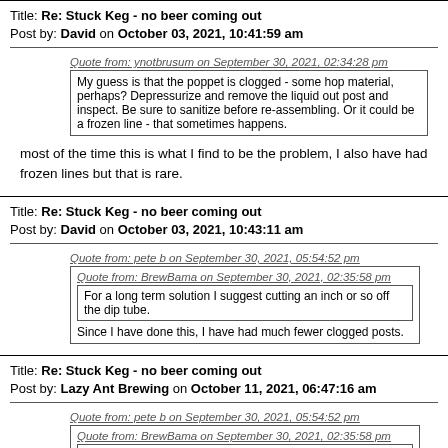Title: Re: Stuck Keg - no beer coming out
Post by: David on October 03, 2021, 10:41:59 am
Quote from: ynotbrusum on September 30, 2021, 02:34:28 pm
My guess is that the poppet is clogged - some hop material, perhaps? Depressurize and remove the liquid out post and inspect. Be sure to sanitize before re-assembling. Or it could be a frozen line - that sometimes happens.
most of the time this is what I find to be the problem, I also have had frozen lines but that is rare.
Title: Re: Stuck Keg - no beer coming out
Post by: David on October 03, 2021, 10:43:11 am
Quote from: pete b on September 30, 2021, 05:54:52 pm
Quote from: BrewBama on September 30, 2021, 02:35:58 pm
For a long term solution I suggest cutting an inch or so off the dip tube.
Since I have done this, I have had much fewer clogged posts.
Title: Re: Stuck Keg - no beer coming out
Post by: Lazy Ant Brewing on October 11, 2021, 06:47:16 am
Quote from: pete b on September 30, 2021, 05:54:52 pm
Quote from: BrewBama on September 30, 2021, 02:35:58 pm
Take your black QD and attached your CO2 to it. Try blowing some CO2 in thru the out door.